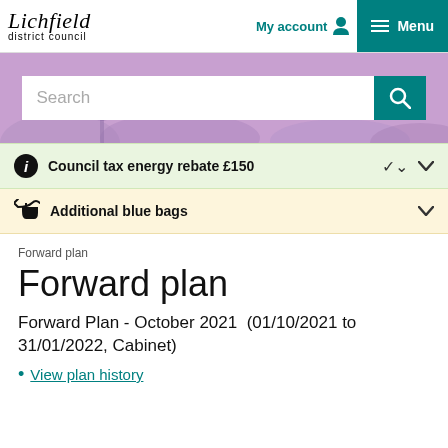Lichfield district council — My account | Menu
[Figure (screenshot): Purple hero banner with search bar]
Council tax energy rebate £150 ∨
Additional blue bags ∨
Forward plan
Forward plan
Forward Plan - October 2021  (01/10/2021 to 31/01/2022, Cabinet)
View plan history